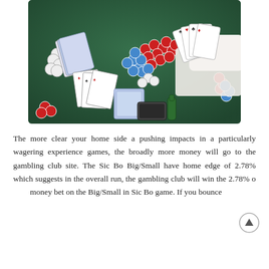[Figure (photo): Overhead view of a casino poker table with green felt, showing playing cards, red, blue, and white poker chips scattered on the table, a deck of cards, a green bottle, and a person in a white shirt holding a fan of cards with their hands visible.]
The more clear your home side a pushing impacts in a particularly wagering experience games, the broadly more money will go to the gambling club site. The Sic Bo Big/Small have home edge of 2.78% which suggests in the overall run, the gambling club will win the 2.78% of the money bet on the Big/Small in Sic Bo game. If you bounce